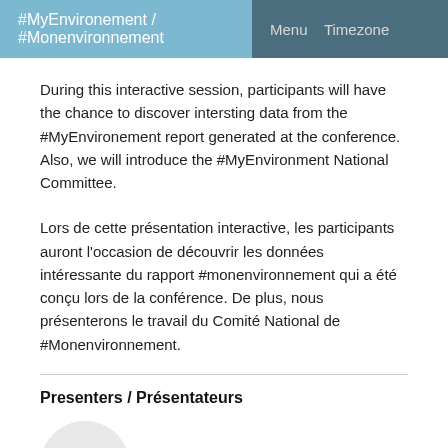#MyEnvironement / #Monenvironnement   Menu   Timezone
During this interactive session, participants will have the chance to discover intersting data from the #MyEnvironement report generated at the conference. Also, we will introduce the #MyEnvironment National Committee.
Lors de cette présentation interactive, les participants auront l'occasion de découvrir les données intéressante du rapport #monenvironnement qui a été conçu lors de la conférence. De plus, nous présenterons le travail du Comité National de #Monenvironnement.
Presenters / Présentateurs
[Figure (illustration): Circular avatar placeholder with grey background showing partial initials 'Ch']